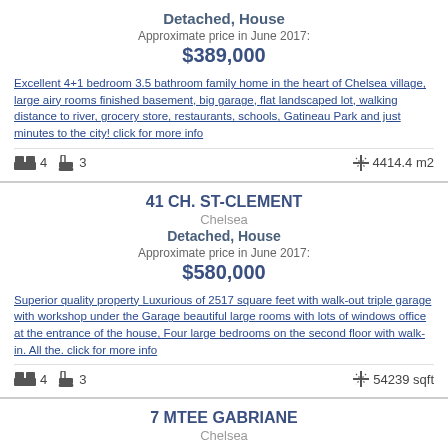Detached, House
Approximate price in June 2017:
$389,000
Excellent 4+1 bedroom 3.5 bathroom family home in the heart of Chelsea village, large airy rooms finished basement, big garage, flat landscaped lot, walking distance to river, grocery store, restaurants, schools, Gatineau Park and just minutes to the city! click for more info
4 bedrooms, 3 bathrooms, 4414.4 m2
41 CH. ST-CLEMENT
Chelsea
Detached, House
Approximate price in June 2017:
$580,000
Superior quality property Luxurious of 2517 square feet with walk-out triple garage with workshop under the Garage beautiful large rooms with lots of windows office at the entrance of the house, Four large bedrooms on the second floor with walk-in. All the. click for more info
4 bedrooms, 3 bathrooms, 54239 sqft
7 MTEE GABRIANE
Chelsea